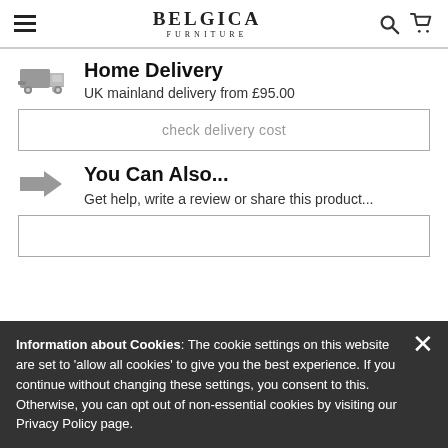BELGICA FURNITURE
Home Delivery
UK mainland delivery from £95.00
check delivery cost
You Can Also...
Get help, write a review or share this product...
Information about Cookies: The cookie settings on this website are set to 'allow all cookies' to give you the best experience. If you continue without changing these settings, you consent to this. Otherwise, you can opt out of non-essential cookies by visiting our Privacy Policy page.